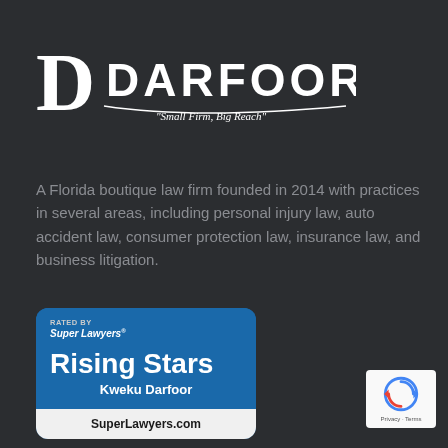[Figure (logo): Darfoor law firm logo — stylized D with swoosh and text 'DARFOOR' with tagline 'Small Firm, Big Reach']
A Florida boutique law firm founded in 2014 with practices in several areas, including personal injury law, auto accident law, consumer protection law, insurance law, and business litigation.
[Figure (other): Super Lawyers Rising Stars badge for Kweku Darfoor with SuperLawyers.com footer]
[Figure (other): reCAPTCHA logo with Privacy - Terms text]